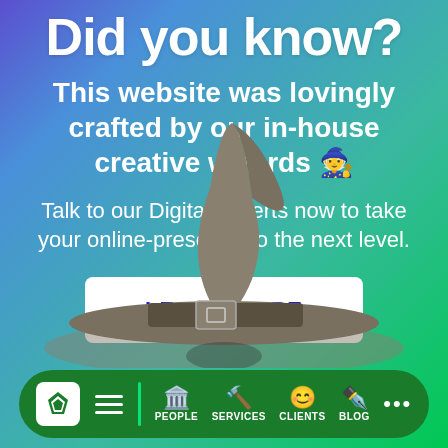Did you know?
This website was lovingly crafted by our in-house creative wizards 🧙
Talk to our Digital experts now to take your online-presence to the next level.
LEARN MORE
[Figure (illustration): A witch hat (grey/brown wide-brimmed wizard hat with a belt buckle) on a figure, partially visible at the bottom of the page]
[Figure (infographic): Dark green rounded navigation bar at the bottom with icons for logo/home, hamburger menu, vertical teal divider, PEOPLE (building icon), SERVICES (hammer icon), CLIENTS (smiley face icon), BLOG (feather/pen icon), and more (three dots)]